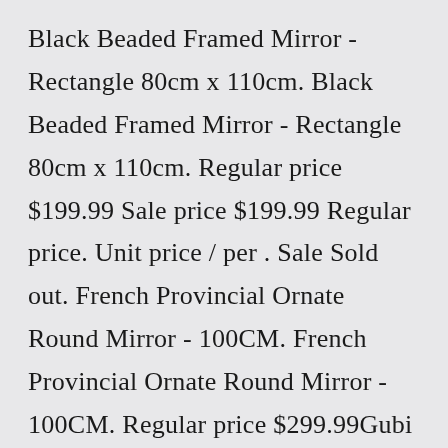Black Beaded Framed Mirror - Rectangle 80cm x 110cm. Black Beaded Framed Mirror - Rectangle 80cm x 110cm. Regular price $199.99 Sale price $199.99 Regular price. Unit price / per . Sale Sold out. French Provincial Ornate Round Mirror - 100CM. French Provincial Ornate Round Mirror - 100CM. Regular price $299.99Gubi Mirror Round - 110cm / Gubi Mobile Mirror / Kristina Dam Peek Mirror /